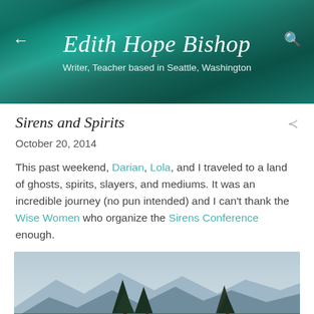Edith Hope Bishop — Writer, Teacher based in Seattle, Washington
Sirens and Spirits
October 20, 2014
This past weekend, Darian, Lola, and I traveled to a land of ghosts, spirits, slayers, and mediums. It was an incredible journey (no pun intended) and I can't thank the Wise Women who organize the Sirens Conference enough.
[Figure (photo): Woman standing in a field of tall golden grass with evergreen trees and mountains/lake in background under overcast sky.]